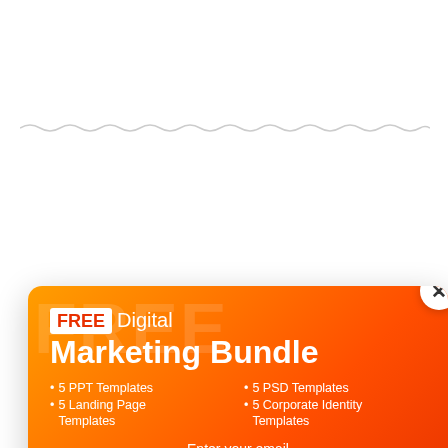[Figure (screenshot): A popup/modal overlay on a webpage background. The modal has an orange-to-red gradient background and promotes a 'FREE Digital Marketing Bundle'. It contains a white 'FREE' badge, title text, a two-column feature list (5 PPT Templates, 5 PSD Templates, 5 Landing Page Templates, 5 Corporate Identity Templates), an email prompt, an email input field, and a 'Get Bundle' button. A close (X) button sits at the top-right of the modal. Behind the modal, partial body text is visible. A gray scroll-to-top arrow button is at bottom-right.]